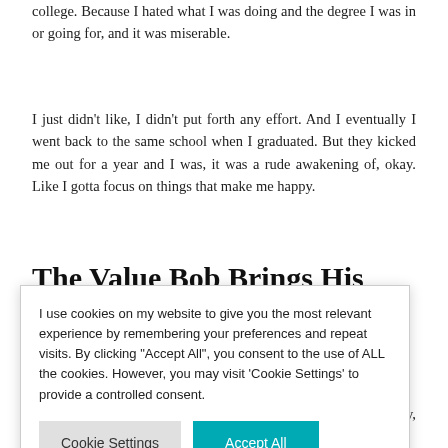college. Because I hated what I was doing and the degree I was in or going for, and it was miserable.
I just didn't like, I didn't put forth any effort. And I eventually I went back to the same school when I graduated. But they kicked me out for a year and I was, it was a rude awakening of, okay. Like I gotta focus on things that make me happy.
The Value Bob Brings His
I use cookies on my website to give you the most relevant experience by remembering your preferences and repeat visits. By clicking "Accept All", you consent to the use of ALL the cookies. However, you may visit 'Cookie Settings' to provide a controlled consent.
Cookie Settings   Accept All
any 3 Degrees Consulting does is digital marketing. Primarily, paid
y to follow, le are pushed y know what
ion can tell us ng your